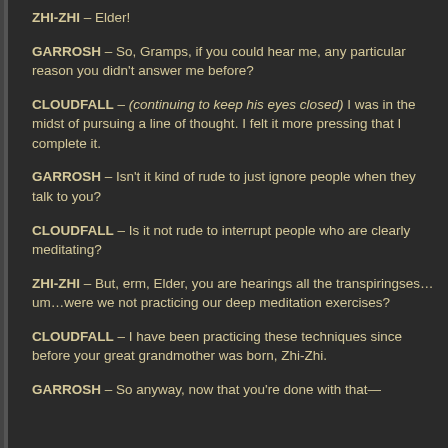ZHI-ZHI – Elder!
GARROSH – So, Gramps, if you could hear me, any particular reason you didn't answer me before?
CLOUDFALL – (continuing to keep his eyes closed) I was in the midst of pursuing a line of thought. I felt it more pressing that I complete it.
GARROSH – Isn't it kind of rude to just ignore people when they talk to you?
CLOUDFALL – Is it not rude to interrupt people who are clearly meditating?
ZHI-ZHI – But, erm, Elder, you are hearings all the transpiringses…um…were we not practicing our deep meditation exercises?
CLOUDFALL – I have been practicing these techniques since before your great grandmother was born, Zhi-Zhi.
GARROSH – So anyway, now that you're done with that—